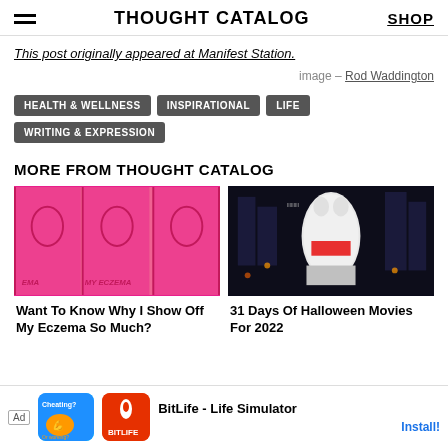THOUGHT CATALOG | SHOP
This post originally appeared at Manifest Station.
image – Rod Waddington
HEALTH & WELLNESS
INSPIRATIONAL
LIFE
WRITING & EXPRESSION
MORE FROM THOUGHT CATALOG
[Figure (photo): Pink illustrated artwork showing women with eczema text]
Want To Know Why I Show Off My Eczema So Much?
[Figure (photo): Dark nighttime scene with large Stay Puft Marshmallow Man balloon/figure from Ghostbusters in a city]
31 Days Of Halloween Movies For 2022